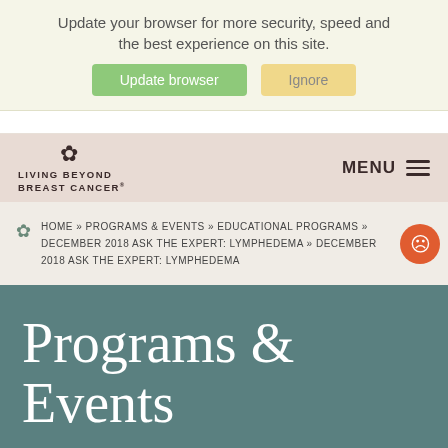Update your browser for more security, speed and the best experience on this site.
Update browser | Ignore
[Figure (logo): Living Beyond Breast Cancer logo with butterfly icon]
MENU
HOME » PROGRAMS & EVENTS » EDUCATIONAL PROGRAMS » DECEMBER 2018 ASK THE EXPERT: LYMPHEDEMA » DECEMBER 2018 ASK THE EXPERT: LYMPHEDEMA
Programs & Events